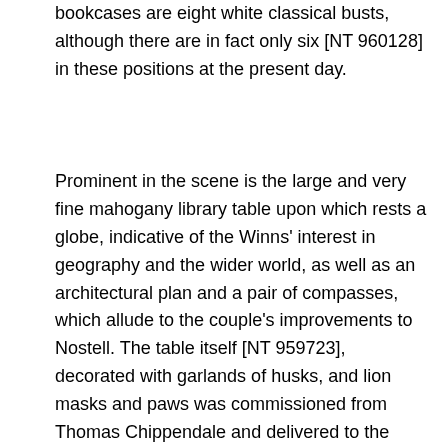bookcases are eight white classical busts, although there are in fact only six [NT 960128] in these positions at the present day.
Prominent in the scene is the large and very fine mahogany library table upon which rests a globe, indicative of the Winns' interest in geography and the wider world, as well as an architectural plan and a pair of compasses, which allude to the couple's improvements to Nostell. The table itself [NT 959723], decorated with garlands of husks, and lion masks and paws was commissioned from Thomas Chippendale and delivered to the house sometime between January and the end of June 1767. At £72, it was the single most expensive item of furniture commissioned by the Winns. Hamilton records the table's original matt, red oil-varnished finish, which has since been polished into to a brown, high shine. (Chippendale's mahogany finish is preserved in the library only on the concealed medal case [NT 959788]). The